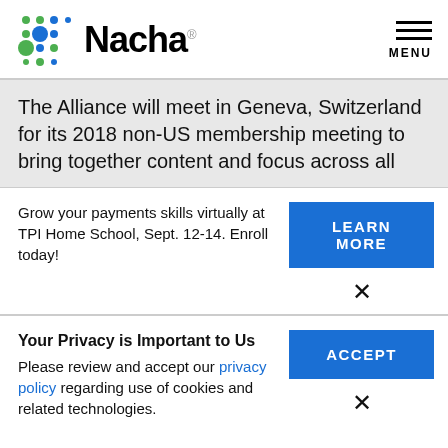[Figure (logo): Nacha logo with colorful dot grid and Nacha wordmark]
The Alliance will meet in Geneva, Switzerland for its 2018 non-US membership meeting to bring together content and focus across all
Grow your payments skills virtually at TPI Home School, Sept. 12-14. Enroll today!
LEARN MORE
Your Privacy is Important to Us
Please review and accept our privacy policy regarding use of cookies and related technologies.
ACCEPT